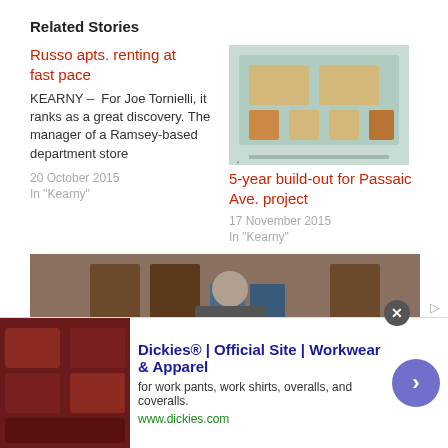Related Stories
Russo apts. renting at fast pace
KEARNY – For Joe Tornielli, it ranks as a great discovery. The manager of a Ramsey-based department store
20 October 2015
In "Kearny"
[Figure (photo): Aerial site plan map of Passaic Ave project]
5-year build-out for Passaic Ave. project
17 November 2015
In "Kearny"
[Figure (photo): Man holding a large document/plan at a meeting]
Fitness center coming:
[Figure (other): Advertisement: Dickies Official Site - Workwear & Apparel. www.dickies.com]